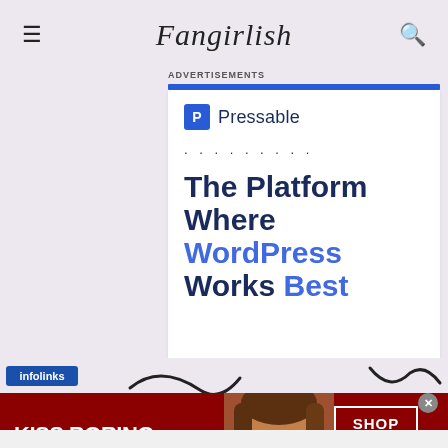Fangirlish
Advertisements
[Figure (screenshot): Pressable advertisement: 'The Platform Where WordPress Works Best' with SEE PRICING button]
[Figure (screenshot): Macy's banner ad: 'KISS BORING LIPS GOODBYE' with SHOP NOW button and Macy's logo]
[Figure (logo): infolinks badge]